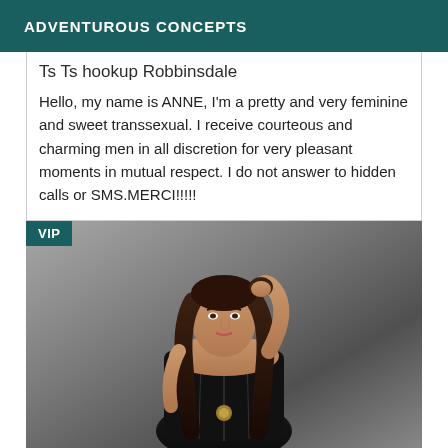ADVENTUROUS CONCEPTS
Ts Ts hookup Robbinsdale
Hello, my name is ANNE, I'm a pretty and very feminine and sweet transsexual. I receive courteous and charming men in all discretion for very pleasant moments in mutual respect. I do not answer to hidden calls or SMS.MERCI!!!!!
[Figure (photo): Woman in black leather corset posing with hand behind head, VIP badge in top-left corner]